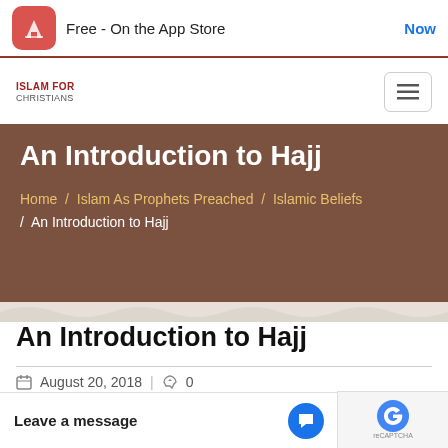Free - On the App Store
[Figure (logo): Islam For Christians website logo]
An Introduction to Hajj
Home / Islam As Prophets Preached / Islamic Beliefs / An Introduction to Hajj
An Introduction to Hajj
August 20, 2018   0
The Merits of Hajj
[Figure (screenshot): Video thumbnail showing mosque minaret on black background]
Leave a message